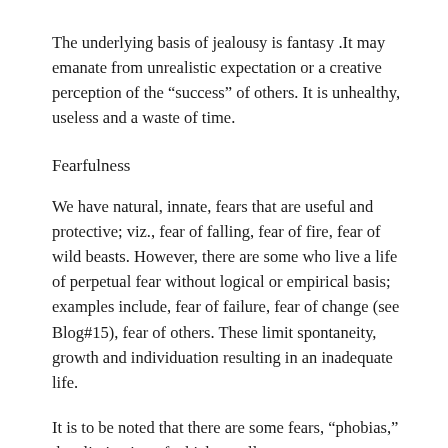The underlying basis of jealousy is fantasy .It may emanate from unrealistic expectation or a creative perception of the “success” of others. It is unhealthy, useless and a waste of time.
Fearfulness
We have natural, innate, fears that are useful and protective; viz., fear of falling, fear of fire, fear of wild beasts. However, there are some who live a life of perpetual fear without logical or empirical basis; examples include, fear of failure, fear of change (see Blog#15), fear of others. These limit spontaneity, growth and individuation resulting in an inadequate life.
It is to be noted that there are some fears, “phobias,” the elimination of which usually